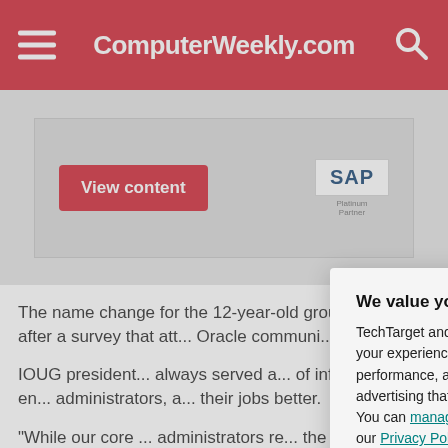ComputerWeekly.com
[Figure (screenshot): Advertisement banner with 'View content' red button and SAP Platinum Partner logo on grey background]
The name change for the 12-year-old group came after a survey that att... Oracle communi...
IOUG president... always served a... of information en... administrators, a... their jobs better.
“While our core ... administrators re... the broader Ora...
[Figure (screenshot): Privacy consent modal overlay: 'We value your privacy.' TechTarget and its partners employ cookies to improve your experience on our site, to analyze traffic and performance, and to serve personalized content and advertising that are relevant to your professional interests. You can manage your settings at any time. Please view our Privacy Policy for more information. Buttons: OK, Settings]